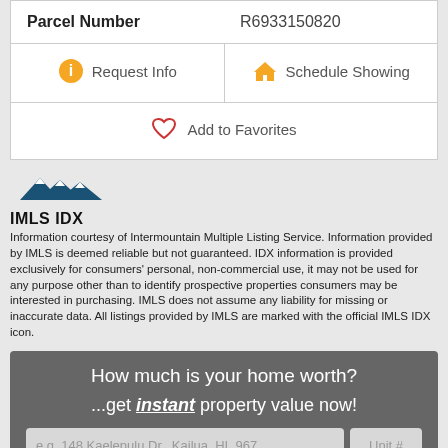| Field | Value |
| --- | --- |
| Parcel Number | R6933150820 |
Request Info | Schedule Showing
Add to Favorites
[Figure (logo): IMLS IDX logo with mountain peaks graphic above bold text 'IMLS IDX']
Information courtesy of Intermountain Multiple Listing Service. Information provided by IMLS is deemed reliable but not guaranteed. IDX information is provided exclusively for consumers' personal, non-commercial use, it may not be used for any purpose other than to identify prospective properties consumers may be interested in purchasing. IMLS does not assume any liability for missing or inaccurate data. All listings provided by IMLS are marked with the official IMLS IDX icon.
How much is your home worth?
...get instant property value now!
e.g. 148 Kaelepulu Dr., Kailua, HI, 967  Unit #